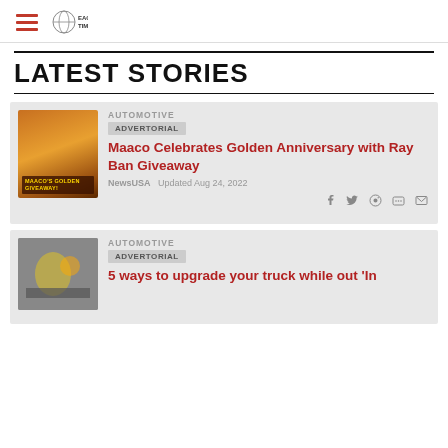Eagle Times (logo) navigation header
LATEST STORIES
AUTOMOTIVE ADVERTORIAL — Maaco Celebrates Golden Anniversary with Ray Ban Giveaway — NewsUSA Updated Aug 24, 2022
AUTOMOTIVE ADVERTORIAL — 5 ways to upgrade your truck while out 'In